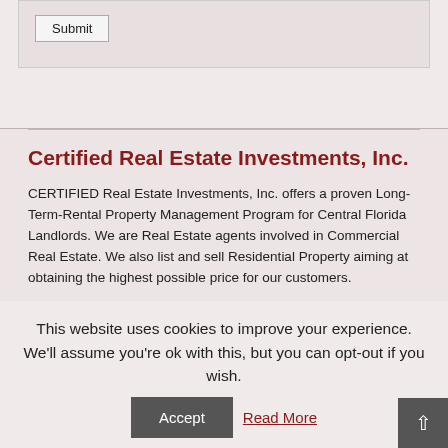Submit
Certified Real Estate Investments, Inc.
CERTIFIED Real Estate Investments, Inc. offers a proven Long-Term-Rental Property Management Program for Central Florida Landlords. We are Real Estate agents involved in Commercial Real Estate. We also list and sell Residential Property aiming at obtaining the highest possible price for our customers.
This website uses cookies to improve your experience. We'll assume you're ok with this, but you can opt-out if you wish.
Accept
Read More